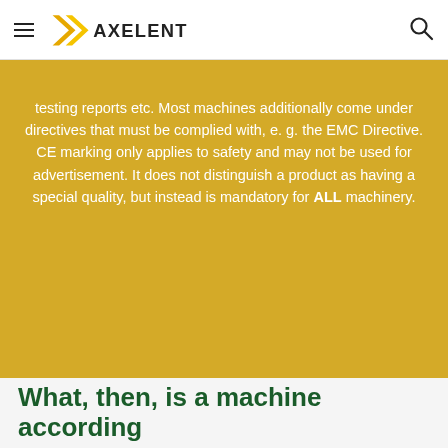AXELENT
testing reports etc. Most machines additionally come under directives that must be complied with, e. g. the EMC Directive. CE marking only applies to safety and may not be used for advertisement. It does not distinguish a product as having a special quality, but instead is mandatory for ALL machinery.
What, then, is a machine according